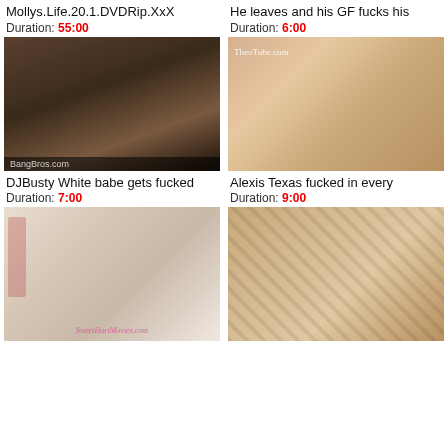Mollys.Life.20.1.DVDRip.XxX
Duration: 55:00
He leaves and his GF fucks his
Duration: 6:00
[Figure (photo): Video thumbnail showing two people]
[Figure (photo): Video thumbnail with watermark TheoTube.com]
DJBusty White babe gets fucked
Duration: 7:00
Alexis Texas fucked in every
Duration: 9:00
[Figure (photo): Video thumbnail with SweetHartMovies.com watermark]
[Figure (photo): Video thumbnail showing person in black lingerie]